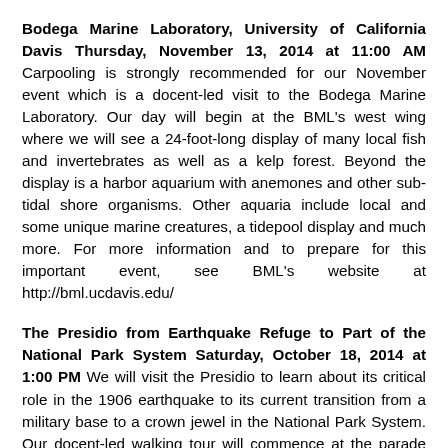Bodega Marine Laboratory, University of California Davis Thursday, November 13, 2014 at 11:00 AM Carpooling is strongly recommended for our November event which is a docent-led visit to the Bodega Marine Laboratory. Our day will begin at the BML's west wing where we will see a 24-foot-long display of many local fish and invertebrates as well as a kelp forest. Beyond the display is a harbor aquarium with anemones and other sub-tidal shore organisms. Other aquaria include local and some unique marine creatures, a tidepool display and much more. For more information and to prepare for this important event, see BML's website at http://bml.ucdavis.edu/
The Presidio from Earthquake Refuge to Part of the National Park System Saturday, October 18, 2014 at 1:00 PM We will visit the Presidio to learn about its critical role in the 1906 earthquake to its current transition from a military base to a crown jewel in the National Park System. Our docent-led walking tour will commence at the parade ground flag pole near the Officers' Club and will allow us to better